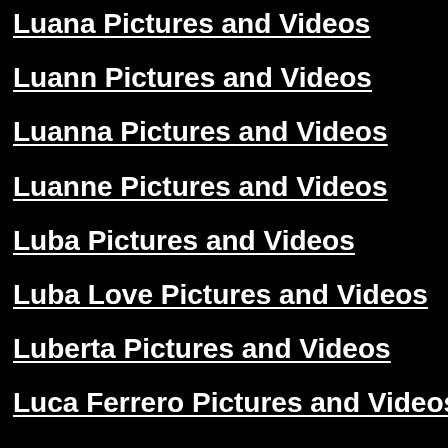Luana Pictures and Videos
Luann Pictures and Videos
Luanna Pictures and Videos
Luanne Pictures and Videos
Luba Pictures and Videos
Luba Love Pictures and Videos
Luberta Pictures and Videos
Luca Ferrero Pictures and Videos